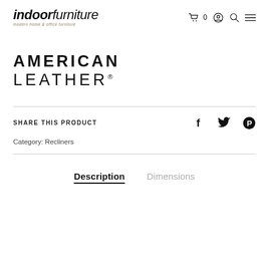indoor furniture - modern home & office furniture
[Figure (logo): American Leather brand logo with bold AMERICAN and light-weight LEATHER text]
SHARE THIS PRODUCT
Category: Recliners
Description
Dimensions